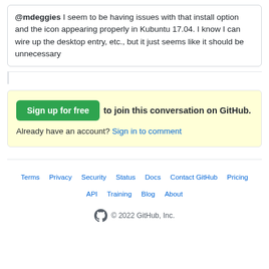@mdeggies I seem to be having issues with that install option and the icon appearing properly in Kubuntu 17.04. I know I can wire up the desktop entry, etc., but it just seems like it should be unnecessary
Sign up for free to join this conversation on GitHub. Already have an account? Sign in to comment
Terms  Privacy  Security  Status  Docs  Contact GitHub  Pricing  API  Training  Blog  About  © 2022 GitHub, Inc.